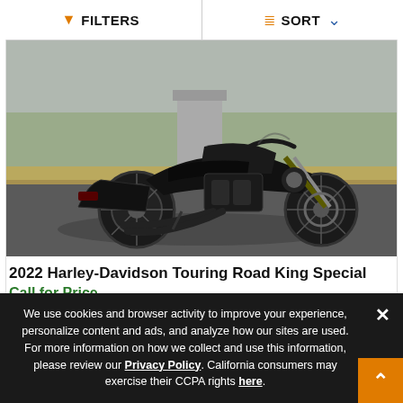FILTERS   SORT
[Figure (photo): Black 2022 Harley-Davidson Touring Road King Special motorcycle photographed in a parking lot, side profile view, with a concrete pillar and trees visible in the background.]
2022 Harley-Davidson Touring Road King Special
Call for Price
We use cookies and browser activity to improve your experience, personalize content and ads, and analyze how our sites are used. For more information on how we collect and use this information, please review our Privacy Policy. California consumers may exercise their CCPA rights here.